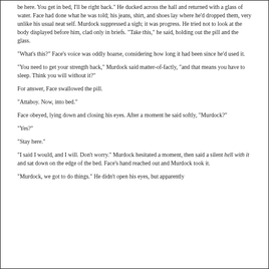be here. You get in bed, I'll be right back." He ducked across the hall and returned with a glass of water. Face had done what he was told; his jeans, shirt, and shoes lay where he'd dropped them, very unlike his usual neat self. Murdock suppressed a sigh; it was progress. He tried not to look at the body displayed before him, clad only in briefs. "Take this," he said, holding out the pill and the glass.
"What's this?" Face's voice was oddly hoarse, considering how long it had been since he'd used it.
"You need to get your strength back," Murdock said matter-of-factly, "and that means you have to sleep. Think you will without it?"
For answer, Face swallowed the pill.
"Attaboy. Now, into bed."
Face obeyed, lying down and closing his eyes. After a moment he said softly, "Murdock?"
"Yes?"
"Stay here."
"I said I would, and I will. Don't worry." Murdock hesitated a moment, then said a silent hell with it and sat down on the edge of the bed. Face's hand reached out and Murdock took it.
"Murdock, we got to do things." He didn't open his eyes, but apparently